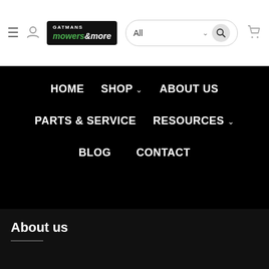[Figure (logo): Gatmans Mowers & More logo with black background, green and white text]
Navigation bar with HOME, SHOP, ABOUT US, PARTS & SERVICE, RESOURCES, BLOG, CONTACT
Handbook
Weber 10 year limited warranty
About us